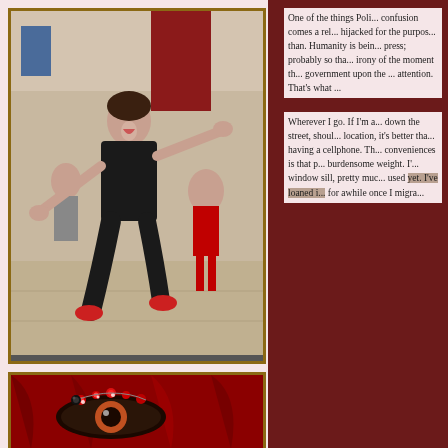[Figure (photo): Woman in black outfit dancing energetically in a mall or public space, with other women in red and black dancing behind her. Flash mob style dance performance.]
[Figure (photo): Close-up of a decorative eye or mask with red and black jeweled ornaments, against a red draped fabric background.]
One of the things Poli... confusion comes a rel... hijacked for the purpos... than. Humanity is bein... press; probably so tha... irony of the moment th... government upon the ... attention. That's what ...
Wherever I go. If I'm a... down the street, shoul... location, it's better tha... having a cellphone. Th... conveniences is that p... burdensome weight. I'... window sill, pretty muc... used yet. I've loaned i... for awhile once I migra...